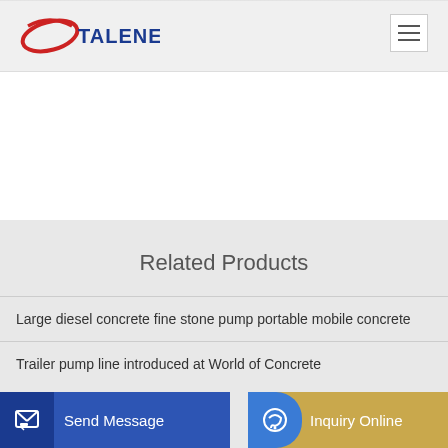[Figure (logo): Talenet logo with red ellipse swoosh and blue text]
Related Products
Large diesel concrete fine stone pump portable mobile concrete
Trailer pump line introduced at World of Concrete
conc
Send Message
Inquiry Online